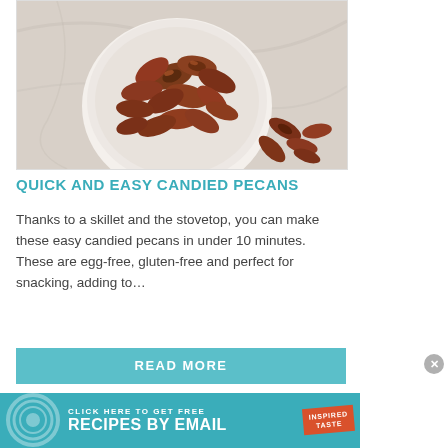[Figure (photo): Overhead view of a white bowl filled with candied pecans on a marble surface, with a few pecans scattered around the bowl.]
QUICK AND EASY CANDIED PECANS
Thanks to a skillet and the stovetop, you can make these easy candied pecans in under 10 minutes. These are egg-free, gluten-free and perfect for snacking, adding to…
READ MORE
[Figure (infographic): Teal advertisement banner: CLICK HERE TO GET FREE RECIPES BY EMAIL with Inspired Taste stamp logo and circular graphic on the left.]